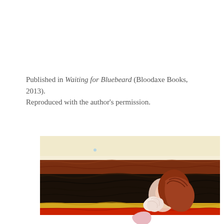Published in Waiting for Bluebeard (Bloodaxe Books, 2013). Reproduced with the author's permission.
[Figure (illustration): A detail of a painting showing a stylized figure with reddish-brown hair and pale skin, set against a dark turbulent background with yellow and red horizontal bands at the bottom, and a pale cream/yellow sky at the top.]